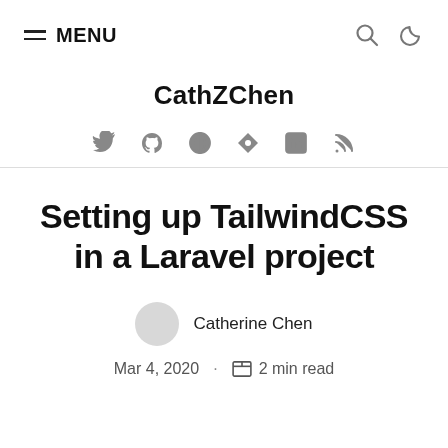≡ MENU
CathZChen
[Figure (other): Social media icons: Twitter, GitHub, Globe, Hashnode, LinkedIn, RSS]
Setting up TailwindCSS in a Laravel project
Catherine Chen
Mar 4, 2020  ·  2 min read